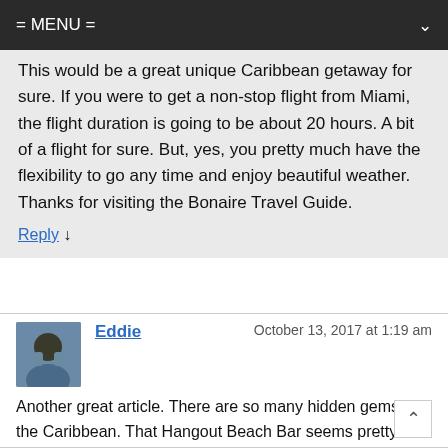= MENU =
This would be a great unique Caribbean getaway for sure.  If you were to get a non-stop flight from Miami, the flight duration is going to be about 20 hours.  A bit of a flight for sure.  But, yes, you pretty much have the flexibility to go any time and enjoy beautiful weather.  Thanks for visiting the Bonaire Travel Guide.
Reply ↓
Eddie   October 13, 2017 at 1:19 am
Another great article. There are so many hidden gems in the Caribbean. That Hangout Beach Bar seems pretty cool. Not sure if I'm ready for the 1000 step beach. lol. You present wonderful information about this beautiful location. Wonderfully done.
Reply ↓